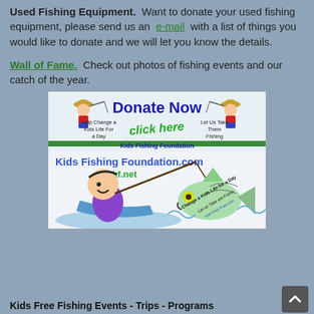Used Fishing Equipment. Want to donate your used fishing equipment, please send us an e-mail with a list of things you would like to donate and we will let you know the details.
Wall of Fame. Check out photos of fishing events and our catch of the year.
[Figure (illustration): Kids Fishing Foundation donation banner illustration featuring two cartoon children fishing, with text 'Donate Now', 'click here', 'Help Change a Kids Life For a Day', 'Let Us Take Them Fishing', 'Kids Fishing Foundation', 'Kids Fishing Foundation.com', 'takf.net', a cartoon boy in a boat reeling in a large fish, and text on the fish reading 'Change a Kids Life for a Day Let us Take em Fishin Kids Fish Free.com']
Kids Free Fishing Events - Trips - Programs